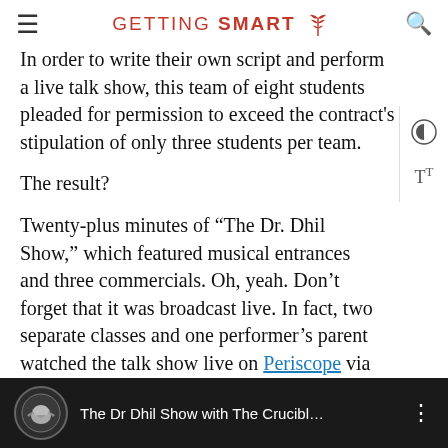GETTING SMART
In order to write their own script and perform a live talk show, this team of eight students pleaded for permission to exceed the contract's stipulation of only three students per team.
The result?
Twenty-plus minutes of “The Dr. Dhil Show,” which featured musical entrances and three commercials. Oh, yeah. Don’t forget that it was broadcast live. In fact, two separate classes and one performer’s parent watched the talk show live on Periscope via Twitter.
[Figure (screenshot): Video thumbnail showing 'The Dr Dhil Show with The Crucibl...' with a viking logo icon on dark background]